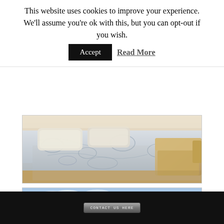This website uses cookies to improve your experience. We'll assume you're ok with this, but you can opt-out if you wish.
Accept | Read More
[Figure (photo): Bedroom photo showing a bed with decorative floral bedspread and pillows, with a sofa/armchair visible in the background to the right.]
[Figure (photo): Landscape aerial/elevated view showing dense green forest/trees with a white building visible among the trees, and the sea horizon visible in the background under a partly cloudy blue sky.]
[Figure (photo): Partially visible third photo at the bottom of the page, mostly cut off.]
CONTACT US HERE